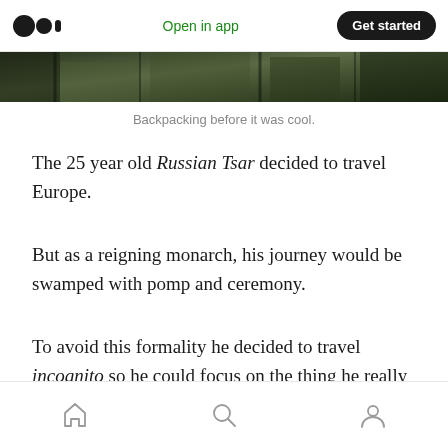Open in app  Get started
[Figure (photo): Partial image strip showing a dark outdoor scene, partially cropped at the top]
Backpacking before it was cool.
The 25 year old Russian Tsar decided to travel Europe.
But as a reigning monarch, his journey would be swamped with pomp and ceremony.
To avoid this formality he decided to travel incognito so he could focus on the thing he really wanted to do… learn.
Home  Search  Profile